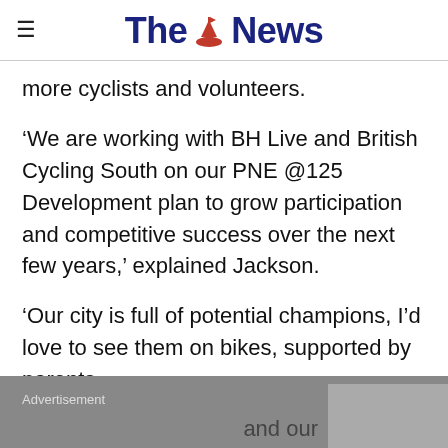The News
more cyclists and volunteers.
‘We are working with BH Live and British Cycling South on our PNE @125 Development plan to grow participation and competitive success over the next few years,’ explained Jackson.
‘Our city is full of potential champions, I’d love to see them on bikes, supported by parents
Advertisement
and our